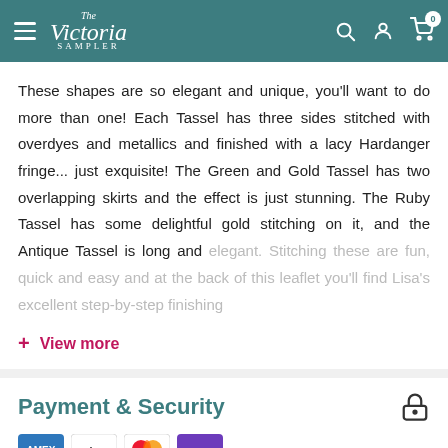The Victoria Sampler — navigation header with hamburger menu, logo, search, account, and cart icons
These shapes are so elegant and unique, you'll want to do more than one! Each Tassel has three sides stitched with overdyes and metallics and finished with a lacy Hardanger fringe... just exquisite! The Green and Gold Tassel has two overlapping skirts and the effect is just stunning. The Ruby Tassel has some delightful gold stitching on it, and the Antique Tassel is long and elegant. Stitching these are fun, quick and easy and at the back of this leaflet you'll find Lisa's excellent step-by-step finishing
+ View more
Payment & Security
[Figure (other): Payment method icons: American Express, Apple Pay, Mastercard, and other payment logos partially visible]